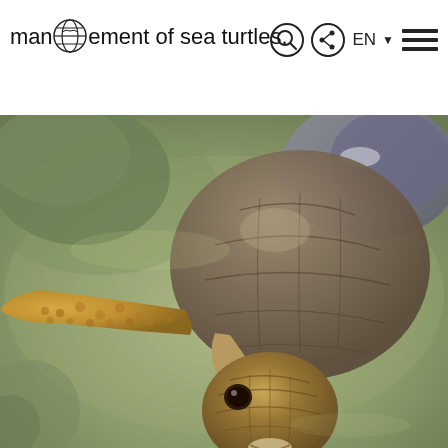management of sea turtles.
[Figure (photo): Close-up photograph of a sea turtle swimming underwater, viewed from above. The turtle's head, front flipper, and shell are visible against a murky greenish water background.]